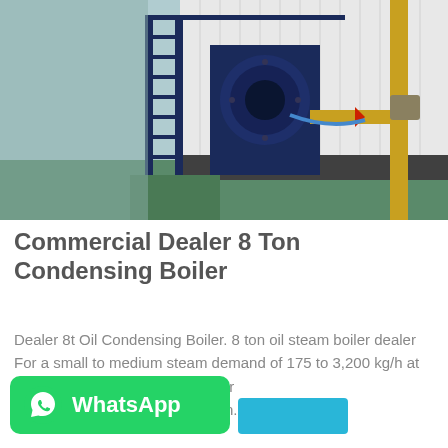[Figure (photo): Industrial condensing boiler in a factory setting. A large blue cylindrical boiler with stairs/scaffolding on the left side, a yellow gas pipe on the right, and corrugated white panels in the background. The floor is green-painted concrete.]
Commercial Dealer 8 Ton Condensing Boiler
Dealer 8t Oil Condensing Boiler. 8 ton oil steam boiler dealer For a small to medium steam demand of 175 to 3,200 kg/h at up to 16 bar · Versatile design for fuel types and as a multi-fuel firin...
[Figure (logo): WhatsApp button - green rounded rectangle with WhatsApp phone icon and text 'WhatsApp']